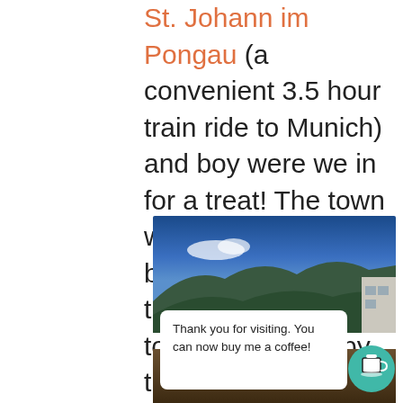Salzburger Land, St. Johann im Pongau (a convenient 3.5 hour train ride to Munich) and boy were we in for a treat! The town was absolutely beautiful and it was the perfect location to take day trips by train to Munich, Innsbruck, and Salzburg.
[Figure (photo): Mountain landscape with blue sky and green hills, with a white overlay box reading 'Thank you for visiting. You can now buy me a coffee!' and a teal coffee cup icon button.]